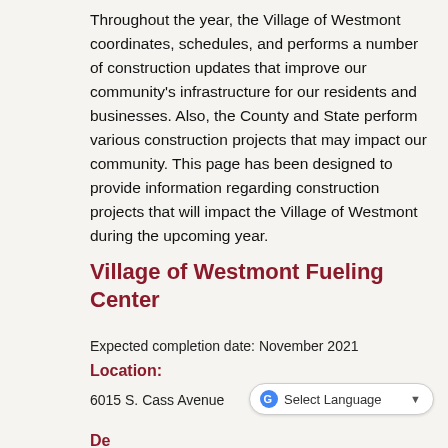Throughout the year, the Village of Westmont coordinates, schedules, and performs a number of construction updates that improve our community's infrastructure for our residents and businesses. Also, the County and State perform various construction projects that may impact our community. This page has been designed to provide information regarding construction projects that will impact the Village of Westmont during the upcoming year.
Village of Westmont Fueling Center
Expected completion date: November 2021
Location:
6015 S. Cass Avenue